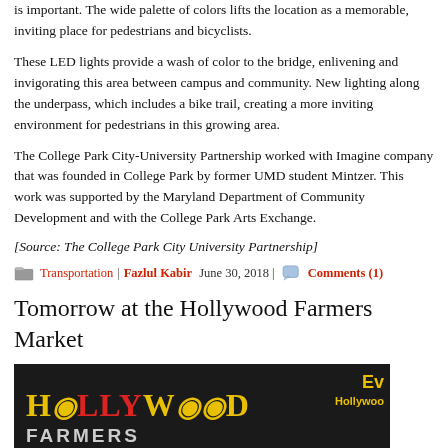is important. The wide palette of colors lifts the location as a memorable, inviting place for pedestrians and bicyclists.
These LED lights provide a wash of color to the bridge, enlivening and invigorating this area between campus and community. New lighting along the underpass, which includes a bike trail, creating a more inviting environment for pedestrians in this growing area.
The College Park City-University Partnership worked with Imagine company that was founded in College Park by former UMD students Mintzer. This work was supported by the Maryland Department of Community Development and with the College Park Arts Exchange.
[Source: The College Park City University Partnership]
Transportation | Fazlul Kabir June 30, 2018 | Comments (1)
Tomorrow at the Hollywood Farmers Market
[Figure (photo): Hollywood Farmers Market banner/logo on dark background with wood texture at bottom. Shows 'HOLLYWOOD' in gold/red decorative font and 'FARMERS MARKET' in grey bold font, with 'Ev... Hollywoo...' text on the right side.]